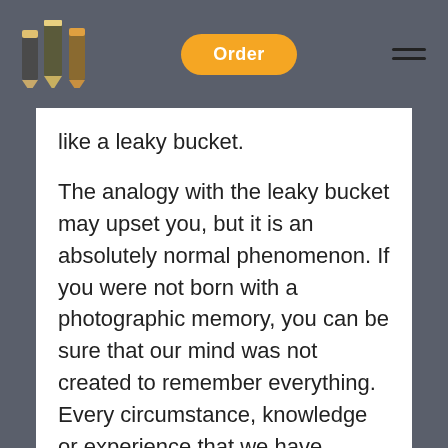Order
like a leaky bucket.
The analogy with the leaky bucket may upset you, but it is an absolutely normal phenomenon. If you were not born with a photographic memory, you can be sure that our mind was not created to remember everything. Every circumstance, knowledge or experience that we have gained during our lives maybe lost forever.